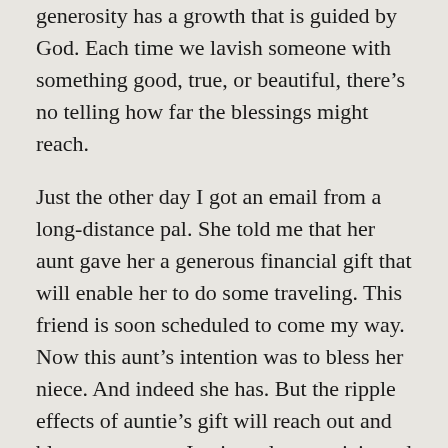generosity has a growth that is guided by God. Each time we lavish someone with something good, true, or beautiful, there's no telling how far the blessings might reach.
Just the other day I got an email from a long-distance pal. She told me that her aunt gave her a generous financial gift that will enable her to do some traveling. This friend is soon scheduled to come my way. Now this aunt's intention was to bless her niece. And indeed she has. But the ripple effects of auntie's gift will reach out and bless me, too, as I enjoy a long-anticipated visit with my friend.
The Magi remind us that life is too short not to live as generously as our hearts and means allow. And to be ever grateful for the unexpected appearance of Magi in our time, who visit their gifts upon us, and whose